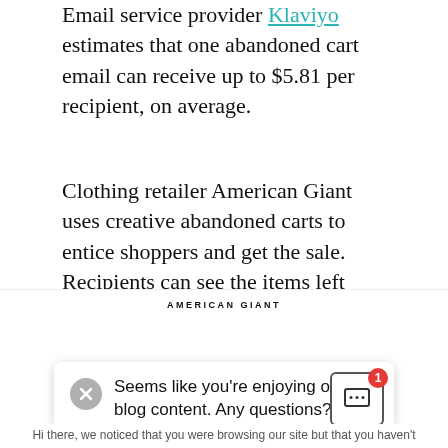Email service provider Klaviyo estimates that one abandoned cart email can receive up to $5.81 per recipient, on average.
Clothing retailer American Giant uses creative abandoned carts to entice shoppers and get the sale. Recipients can see the items left behind and have the option to contact support if they have any questions. When someone clicks the Shop Now button, they are taken to checkout to finish the purchase.
[Figure (screenshot): Screenshot of American Giant website with a chat popup overlay. The popup shows a close (X) button, text reading 'Seems like you’re enjoying our blog content. Any questions?', a chat icon with a red badge showing '1', and partial bottom text 'Hi there, we noticed that you were browsing our site but that you haven’t']